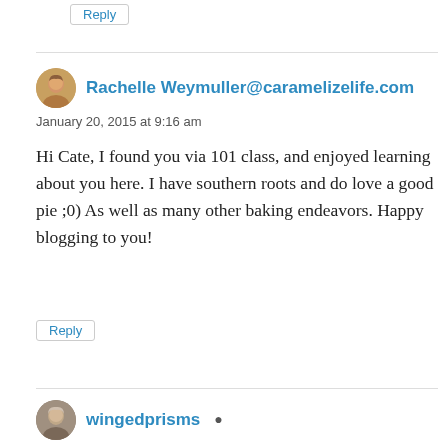Reply
Rachelle Weymuller@caramelizelife.com
January 20, 2015 at 9:16 am
Hi Cate, I found you via 101 class, and enjoyed learning about you here. I have southern roots and do love a good pie ;0) As well as many other baking endeavors. Happy blogging to you!
Reply
wingedprisms